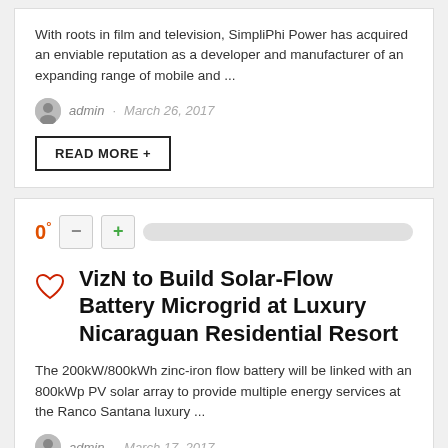With roots in film and television, SimpliPhi Power has acquired an enviable reputation as a developer and manufacturer of an expanding range of mobile and ...
admin · March 26, 2017
READ MORE +
[Figure (infographic): Rating widget showing 0 degrees score with minus and plus buttons and a gray progress bar]
VizN to Build Solar-Flow Battery Microgrid at Luxury Nicaraguan Residential Resort
The 200kW/800kWh zinc-iron flow battery will be linked with an 800kWp PV solar array to provide multiple energy services at the Ranco Santana luxury ...
admin · March 17, 2017